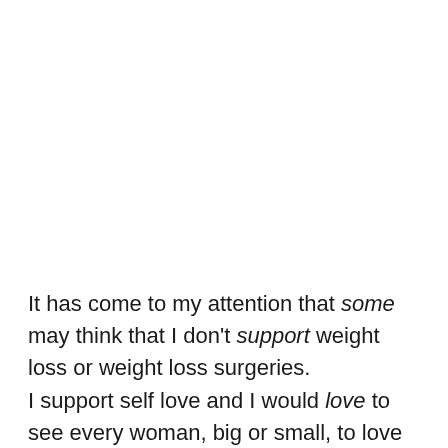It has come to my attention that some may think that I don't support weight loss or weight loss surgeries.
I support self love and I would love to see every woman, big or small, to love yourselves no